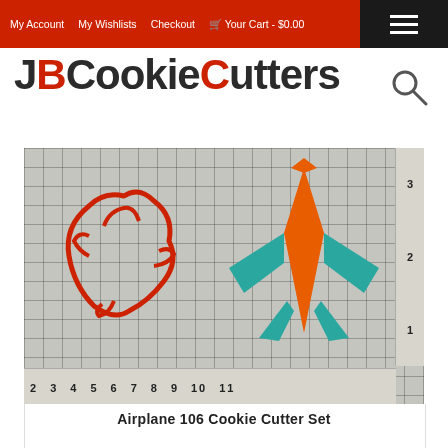My Account   My Wishlists   Checkout   🛒 Your Cart - $0.00
JBCookieCutters
[Figure (photo): Photo of two airplane cookie cutters on a grid measuring mat. Left: red wire/outline cookie cutter in airplane shape. Right: teal and orange fondant airplane shape. Ruler markings from 2 to 11 visible at bottom and 1 to 3 on the right side.]
Airplane 106 Cookie Cutter Set
NOT RATED
$5.50 – $9.50